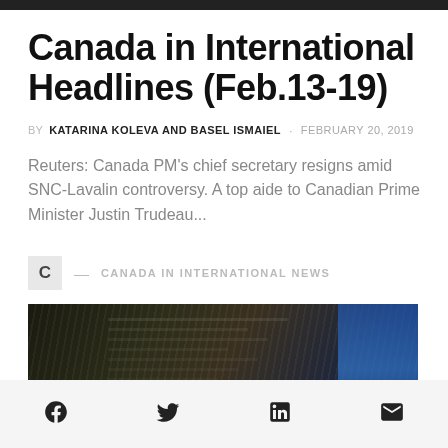Canada in International Headlines (Feb.13-19)
BY KATARINA KOLEVA AND BASEL ISMAIEL · FEBRUARY 20, 2019
Reuters: Canada PM's chief secretary resigns amid SNC-Lavalin controversy. A top aide to Canadian Prime Minister Justin Trudeau...
C — CANADA IN INTERNATIONAL NEWS
[Figure (photo): Close-up dark photo of printed document pages with a blue element in the background]
[Figure (other): Social sharing bar with Facebook, Twitter, LinkedIn, and Email icons]